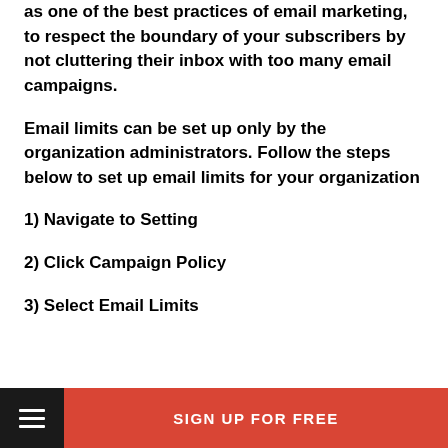as one of the best practices of email marketing, to respect the boundary of your subscribers by not cluttering their inbox with too many email campaigns.
Email limits can be set up only by the organization administrators. Follow the steps below to set up email limits for your organization
1) Navigate to Setting
2) Click Campaign Policy
3) Select Email Limits
SIGN UP FOR FREE